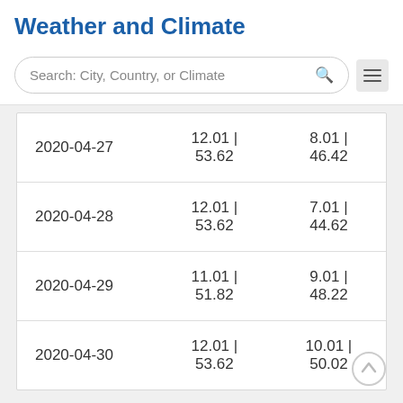Weather and Climate
Search: City, Country, or Climate
| Date | Max Temp | Min Temp |
| --- | --- | --- |
| 2020-04-27 | 12.01 | 53.62 | 8.01 | 46.42 |
| 2020-04-28 | 12.01 | 53.62 | 7.01 | 44.62 |
| 2020-04-29 | 11.01 | 51.82 | 9.01 | 48.22 |
| 2020-04-30 | 12.01 | 53.62 | 10.01 | 50.02 |
← Prev Month
Next Month →